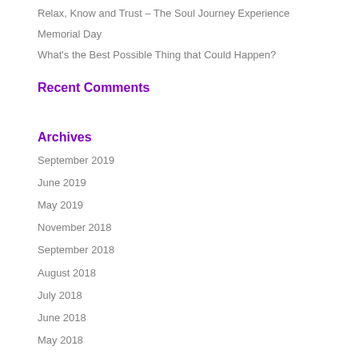Relax, Know and Trust – The Soul Journey Experience
Memorial Day
What's the Best Possible Thing that Could Happen?
Recent Comments
Archives
September 2019
June 2019
May 2019
November 2018
September 2018
August 2018
July 2018
June 2018
May 2018
March 2018
Categories
Uncategorized